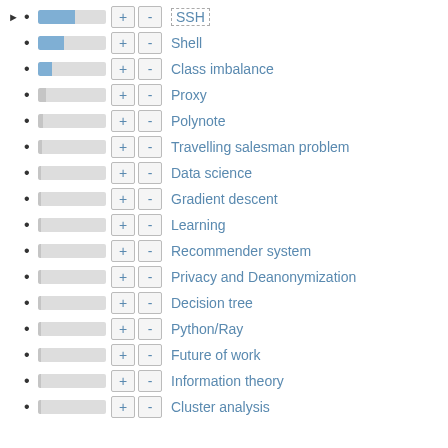SSH
Shell
Class imbalance
Proxy
Polynote
Travelling salesman problem
Data science
Gradient descent
Learning
Recommender system
Privacy and Deanonymization
Decision tree
Python/Ray
Future of work
Information theory
Cluster analysis